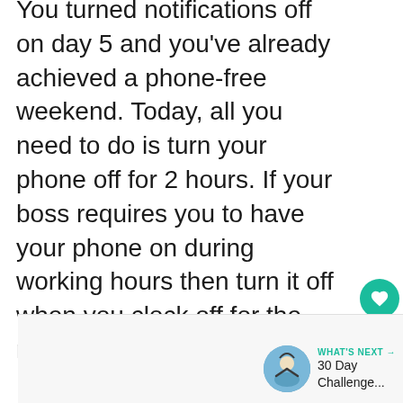You turned notifications off on day 5 and you've already achieved a phone-free weekend. Today, all you need to do is turn your phone off for 2 hours. If your boss requires you to have your phone on during working hours then turn it off when you clock off for the night.
[Figure (screenshot): UI widget panel with heart/like button (teal circle, count 75) and share button]
[Figure (screenshot): WHAT'S NEXT card with thumbnail image of person and text '30 Day Challenge...']